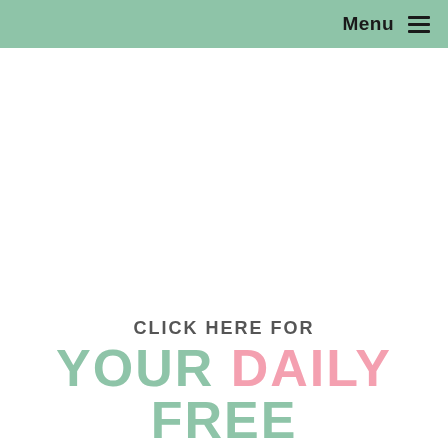Menu ≡
CLICK HERE FOR
YOUR DAILY
FREE PRINTABLE!